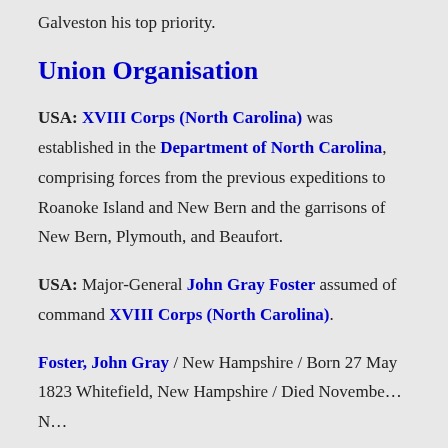Galveston his top priority.
Union Organisation
USA: XVIII Corps (North Carolina) was established in the Department of North Carolina, comprising forces from the previous expeditions to Roanoke Island and New Bern and the garrisons of New Bern, Plymouth, and Beaufort.
USA: Major-General John Gray Foster assumed of command XVIII Corps (North Carolina).
Foster, John Gray / New Hampshire / Born 27 May 1823 Whitefield, New Hampshire / Died November N...